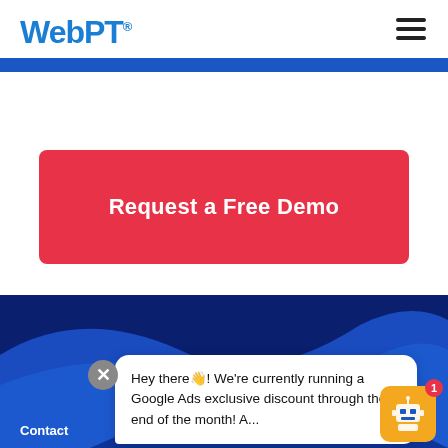[Figure (logo): WebPT logo in blue with registered trademark symbol]
[Figure (other): Hamburger menu icon (three horizontal lines)]
[Figure (other): Blue decorative wave background section]
Request a Free Demo
Hey there👋! We're currently running a Google Ads exclusive discount through the end of the month! A...
Contact